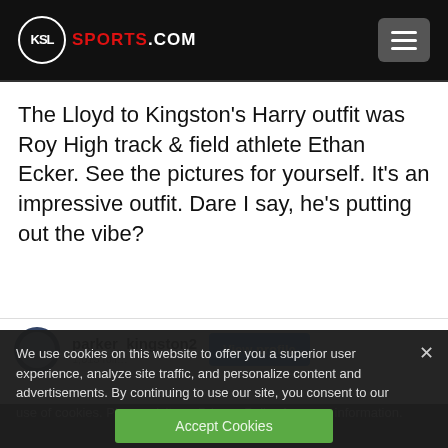KSL SPORTS.COM
The Lloyd to Kingston’s Harry outfit was Roy High track & field athlete Ethan Ecker. See the pictures for yourself. It’s an impressive outfit. Dare I say, he’s putting out the vibe?
parker_kingston2
View profile
We use cookies on this website to offer you a superior user experience, analyze site traffic, and personalize content and advertisements. By continuing to use our site, you consent to our use of cookies. Please visit our Privacy Policy for more information.
Accept Cookies